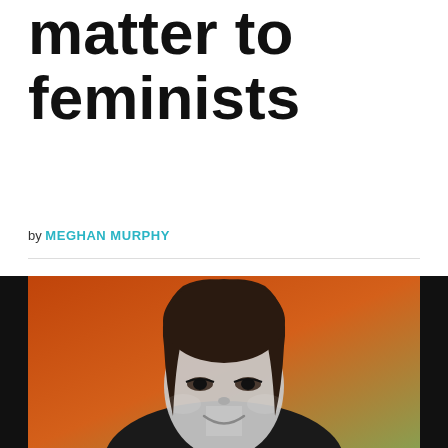matter to feminists
by MEGHAN MURPHY
[Figure (photo): Portrait photo of a woman with long dark hair, smiling, against an orange-to-green gradient background, rendered in duotone/colorized style]